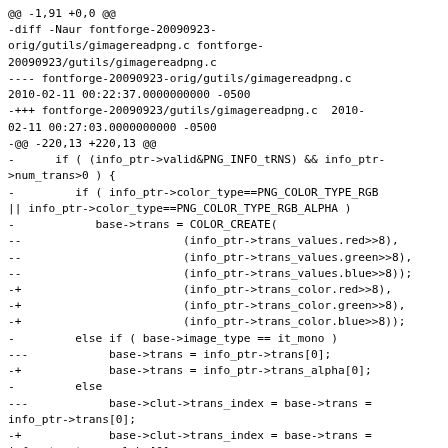@@ -1,91 +0,0 @@
-diff -Naur fontforge-20090923-orig/gutils/gimagereadpng.c fontforge-20090923/gutils/gimagereadpng.c
---- fontforge-20090923-orig/gutils/gimagereadpng.c 2010-02-11 00:22:37.0000000000 -0500
-+++ fontforge-20090923/gutils/gimagereadpng.c 2010-02-11 00:27:03.0000000000 -0500
-@@ -220,13 +220,13 @@
-      if ( (info_ptr->valid&PNG_INFO_tRNS) && info_ptr->num_trans>0 ) {
-         if ( info_ptr->color_type==PNG_COLOR_TYPE_RGB || info_ptr->color_type==PNG_COLOR_TYPE_RGB_ALPHA )
-            base->trans = COLOR_CREATE(
--                        (info_ptr->trans_values.red>>8),
--                        (info_ptr->trans_values.green>>8),
--                        (info_ptr->trans_values.blue>>8));
-+                        (info_ptr->trans_color.red>>8),
-+                        (info_ptr->trans_color.green>>8),
-+                        (info_ptr->trans_color.blue>>8));
-         else if ( base->image_type == it_mono )
---            base->trans = info_ptr->trans[0];
-+             base->trans = info_ptr->trans_alpha[0];
-         else
---            base->clut->trans_index = base->trans = info_ptr->trans[0];
-+             base->clut->trans_index = base->trans = info_ptr->trans_alpha[0];
-      }
-